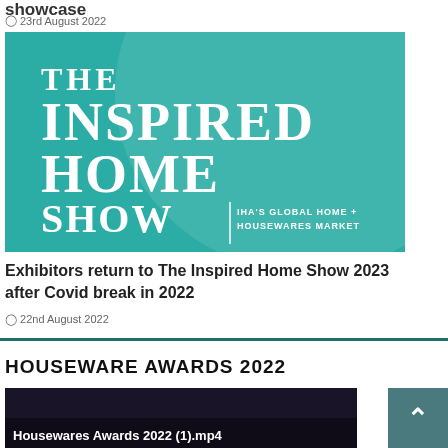Showcase
23rd August 2022
[Figure (logo): The Inspired Home Show logo on teal background — IHA's Global Home + Housewares Market]
Exhibitors return to The Inspired Home Show 2023 after Covid break in 2022
22nd August 2022
HOUSEWARE AWARDS 2022
[Figure (screenshot): Preview image for Housewares Awards 2022 video (1).mp4 with dark background]